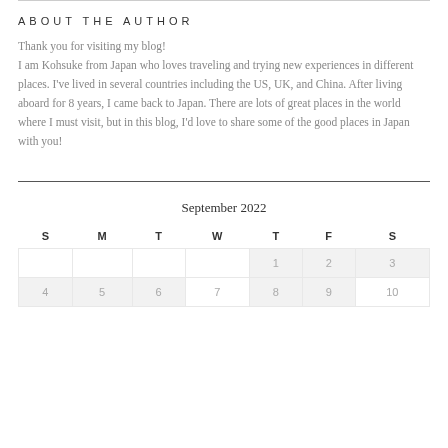ABOUT THE AUTHOR
Thank you for visiting my blog!
I am Kohsuke from Japan who loves traveling and trying new experiences in different places. I've lived in several countries including the US, UK, and China. After living aboard for 8 years, I came back to Japan. There are lots of great places in the world where I must visit, but in this blog, I'd love to share some of the good places in Japan with you!
September 2022
| S | M | T | W | T | F | S |
| --- | --- | --- | --- | --- | --- | --- |
|  |  |  |  | 1 | 2 | 3 |
| 4 | 5 | 6 | 7 | 8 | 9 | 10 |